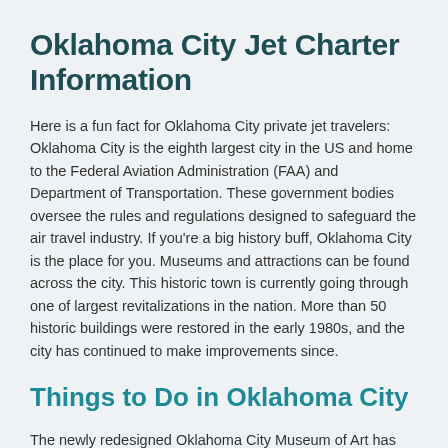Oklahoma City Jet Charter Information
Here is a fun fact for Oklahoma City private jet travelers: Oklahoma City is the eighth largest city in the US and home to the Federal Aviation Administration (FAA) and Department of Transportation. These government bodies oversee the rules and regulations designed to safeguard the air travel industry. If you're a big history buff, Oklahoma City is the place for you. Museums and attractions can be found across the city. This historic town is currently going through one of largest revitalizations in the nation. More than 50 historic buildings were restored in the early 1980s, and the city has continued to make improvements since.
Things to Do in Oklahoma City
The newly redesigned Oklahoma City Museum of Art has quickly become one of the top attractions in the city. Along with its magnificent architecture and fascinating art collection, it